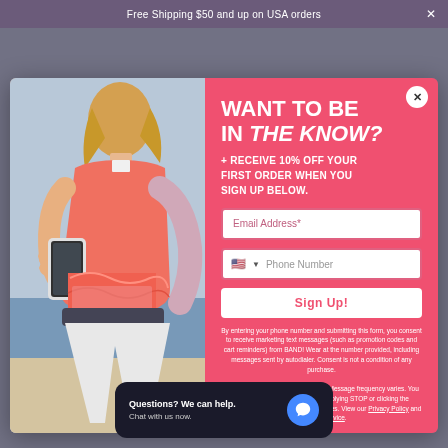Free Shipping $50 and up on USA orders
[Figure (photo): Woman in coral/salmon top holding a smartphone, standing outdoors near a beach. White pants visible. Another person partially visible behind her.]
WANT TO BE IN THE KNOW?
+ RECEIVE 10% OFF YOUR FIRST ORDER WHEN YOU SIGN UP BELOW.
Email Address*
Phone Number
Sign Up!
By entering your phone number and submitting this form, you consent to receive marketing text messages (such as promotion codes and cart reminders) from BAND! Wear at the number provided, including messages sent by autodialer. Consent is not a condition of any purchase.
Message and data rates may apply. Message frequency varies. You can unsubscribe at any time by replying STOP or clicking the unsubscribe link in one of our messages. View our Privacy Policy and Terms of Service.
Questions? We can help. Chat with us now.